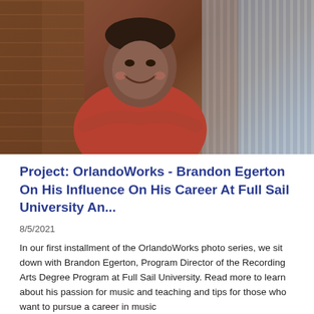[Figure (photo): A smiling man in a red/maroon polo shirt laughing, seated in front of a wall of wooden cubby shelves on the left and vertical blinds/glass on the right. He appears to be Brandon Egerton.]
Project: OrlandoWorks - Brandon Egerton On His Influence On His Career At Full Sail University An...
8/5/2021
In our first installment of the OrlandoWorks photo series, we sit down with Brandon Egerton, Program Director of the Recording Arts Degree Program at Full Sail University. Read more to learn about his passion for music and teaching and tips for those who want to pursue a career in music